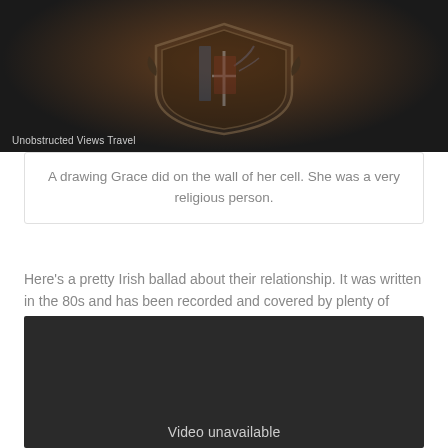[Figure (photo): Dark image showing a drawing or coat of arms on a wall, with a watermark 'Unobstructed Views Travel' at the bottom left.]
A drawing Grace did on the wall of her cell. She was a very religious person.
Here’s a pretty Irish ballad about their relationship. It was written in the 80s and has been recorded and covered by plenty of groups since then. It’s called "Grace." This one is one of the most popular versions on YouTube:
[Figure (screenshot): Embedded YouTube video player showing 'Video unavailable' message on a dark background.]